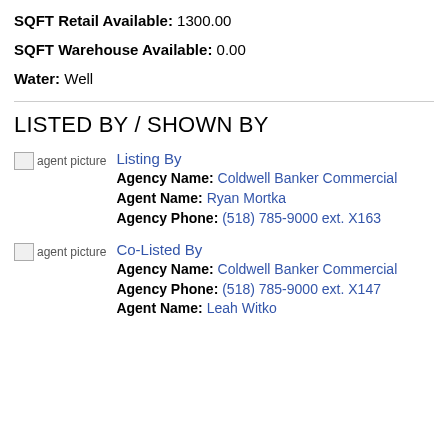SQFT Retail Available: 1300.00
SQFT Warehouse Available: 0.00
Water: Well
LISTED BY / SHOWN BY
Listing By
Agency Name: Coldwell Banker Commercial
Agent Name: Ryan Mortka
Agency Phone: (518) 785-9000 ext. X163
Co-Listed By
Agency Name: Coldwell Banker Commercial
Agency Phone: (518) 785-9000 ext. X147
Agent Name: Leah Witko